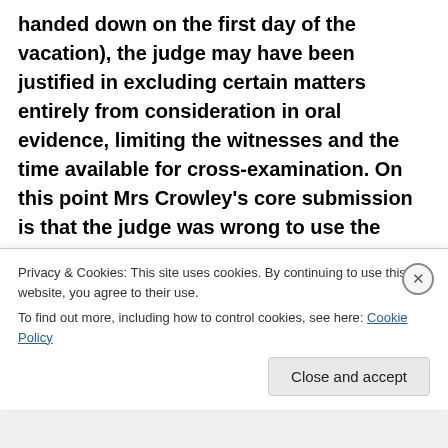handed down on the first day of the vacation), the judge may have been justified in excluding certain matters entirely from consideration in oral evidence, limiting the witnesses and the time available for cross-examination. On this point Mrs Crowley's core submission is that the judge was wrong to use the early adverse view she had formed of the mother's evidence to determine the allegations that had been made by each of the three children and to do so without a proper evaluation of the primary material that only became
Privacy & Cookies: This site uses cookies. By continuing to use this website, you agree to their use.
To find out more, including how to control cookies, see here: Cookie Policy